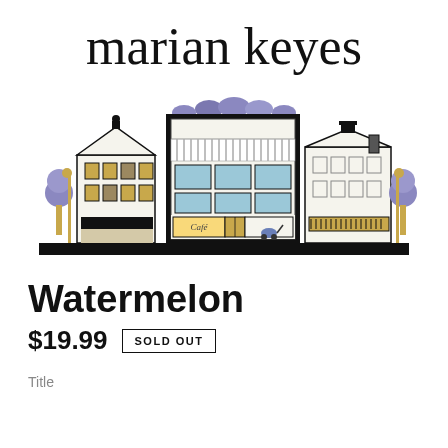marian keyes
[Figure (illustration): Illustrated street scene showing a row of buildings including a large bookshop/department store in the center with striped awnings and a 'Café' sign, flanked by narrower buildings on each side, with stylized trees and a stroller visible]
Watermelon
$19.99  SOLD OUT
Title